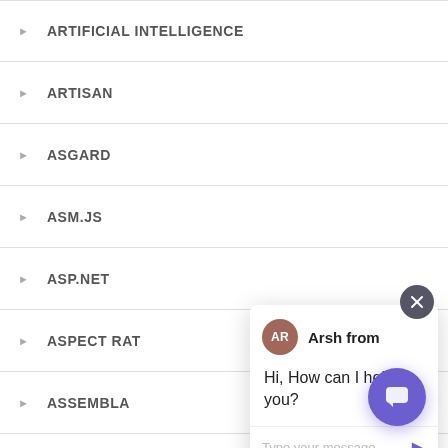ARTIFICIAL INTELLIGENCE
ARTISAN
ASGARD
ASM.JS
ASP.NET
ASPECT RATIO
ASSEMBLA
ASSET HANDLING
ASSET MANAGEMENT
[Figure (screenshot): Chat popup with avatar 'AR', agent name 'Arsh from', message 'Hi, How can I help you?', input field 'Type your message', send button, and close button (×). Also a purple chat launcher button at bottom right.]